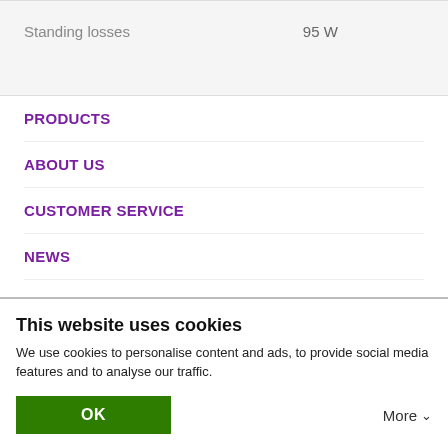|  |  |
| --- | --- |
| Standing losses | 95 W |
PRODUCTS
ABOUT US
CUSTOMER SERVICE
NEWS
CAREERS
PRIVACY POLICY
This website uses cookies
We use cookies to personalise content and ads, to provide social media features and to analyse our traffic.
OK
More